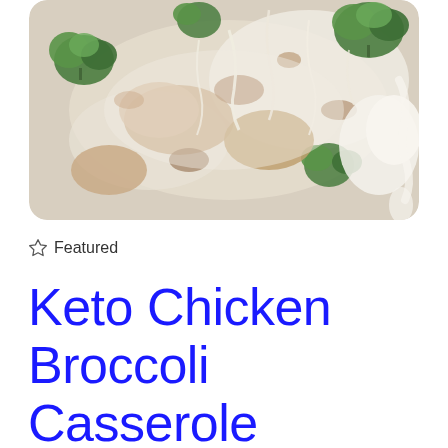[Figure (photo): Close-up photo of a baked casserole dish with melted cheese, broccoli florets, and chicken pieces, with rounded corners]
☆ Featured
Keto Chicken Broccoli Casserole